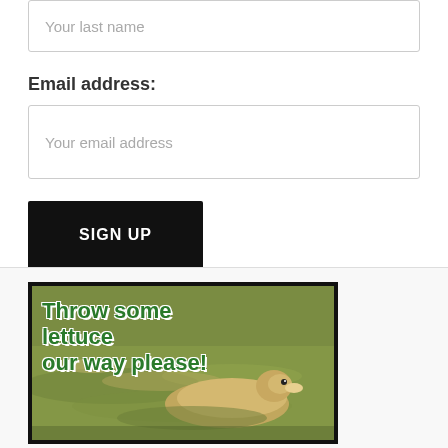Your last name
Email address:
Your email address
SIGN UP
[Figure (photo): Photo of a duck or aquatic animal swimming in water with green text overlay reading 'Throw some lettuce our way please!']